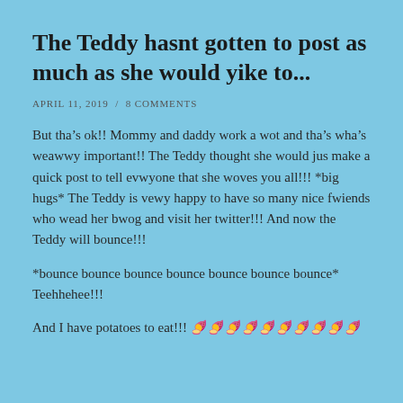The Teddy hasnt gotten to post as much as she would yike to...
APRIL 11, 2019  /  8 COMMENTS
But tha’s ok!! Mommy and daddy work a wot and tha’s wha’s weawwy important!! The Teddy thought she would jus make a quick post to tell evwyone that she woves you all!!! *big hugs* The Teddy is vewy happy to have so many nice fwiends who wead her bwog and visit her twitter!!! And now the Teddy will bounce!!!
*bounce bounce bounce bounce bounce bounce bounce* Teehhehee!!!
And I have potatoes to eat!!! 🍠🍠🍠🍠🍠🍠🍠🍠🍠🍠